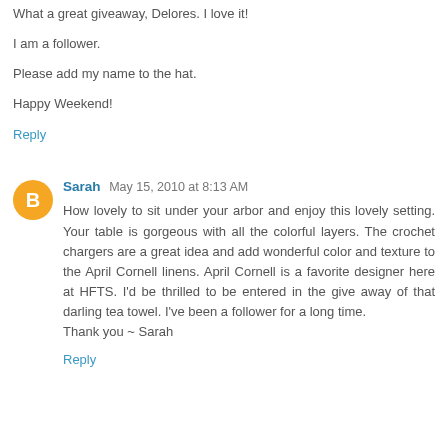What a great giveaway, Delores. I love it!
I am a follower.
Please add my name to the hat.
Happy Weekend!
Reply
Sarah  May 15, 2010 at 8:13 AM
How lovely to sit under your arbor and enjoy this lovely setting. Your table is gorgeous with all the colorful layers. The crochet chargers are a great idea and add wonderful color and texture to the April Cornell linens. April Cornell is a favorite designer here at HFTS. I'd be thrilled to be entered in the give away of that darling tea towel. I've been a follower for a long time.
Thank you ~ Sarah
Reply